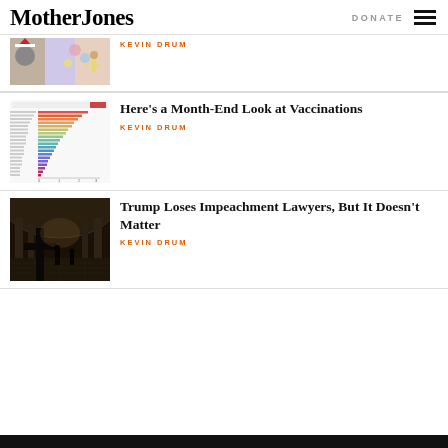Mother Jones | DONATE
[Figure (photo): Partial article thumbnail showing a colorful art collage/photo]
KEVIN DRUM
[Figure (bar-chart): Horizontal bar chart showing vaccination data by country]
Here’s a Month-End Look at Vaccinations
KEVIN DRUM
[Figure (photo): Photo of the US Capitol interior rotunda with a large cross in foreground]
Trump Loses Impeachment Lawyers, But It Doesn’t Matter
KEVIN DRUM